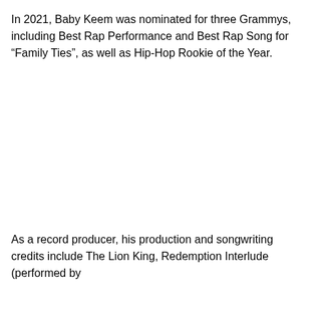In 2021, Baby Keem was nominated for three Grammys, including Best Rap Performance and Best Rap Song for “Family Ties”, as well as Hip-Hop Rookie of the Year.
As a record producer, his production and songwriting credits include The Lion King, Redemption Interlude (performed by